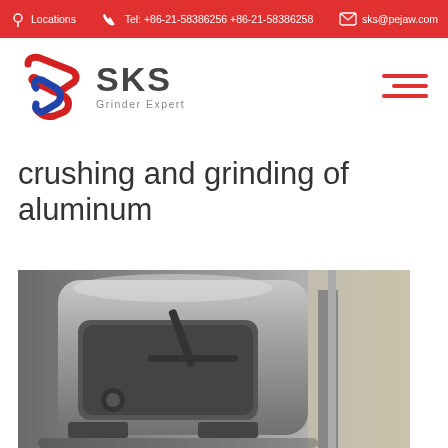Locations   Tel: +86-21-58386256 +86-21-58386258   sks@pejaw.com
[Figure (logo): SKS Grinder Expert logo with red and blue stylized S icon]
crushing and grinding of aluminum
[Figure (photo): Close-up photo of an industrial grinding machine, metallic gray, showing mechanical components and body]